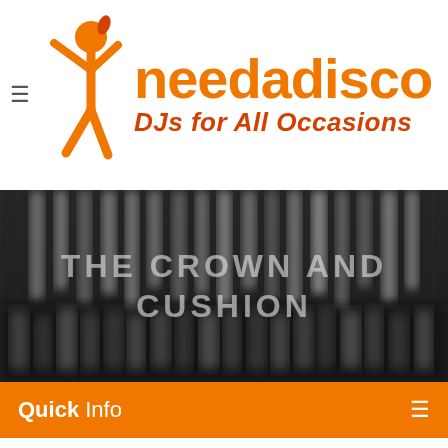[Figure (logo): needadisco logo with orange figure and text 'needadisco DJs for All Occasions']
[Figure (photo): Black and white blurred photo of bar tap handles with overlaid text 'THE CROWN AND CUSHION']
Quick Info
The Crown and Cushion